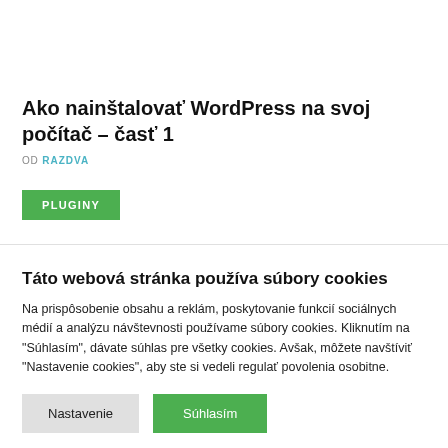Ako nainštalovať WordPress na svoj počítač – časť 1
OD RAZDVA
PLUGINY
Táto webová stránka používa súbory cookies
Na prispôsobenie obsahu a reklám, poskytovanie funkcií sociálnych médií a analýzu návštevnosti používame súbory cookies. Kliknutím na "Súhlasím", dávate súhlas pre všetky cookies. Avšak, môžete navštíviť "Nastavenie cookies", aby ste si vedeli regulať povolenia osobitne.
Nastavenie  Súhlasím